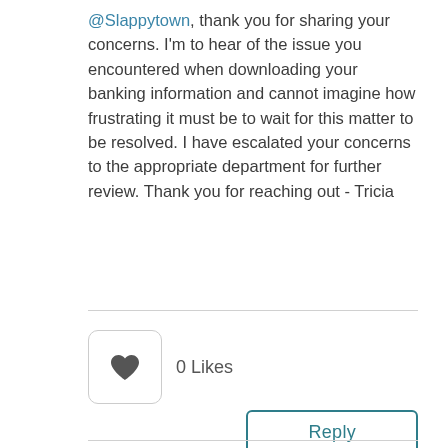@Slappytown, thank you for sharing your concerns. I'm to hear of the issue you encountered when downloading your banking information and cannot imagine how frustrating it must be to wait for this matter to be resolved. I have escalated your concerns to the appropriate department for further review. Thank you for reaching out - Tricia
[Figure (other): Heart/like button with 0 Likes count and a Reply button]